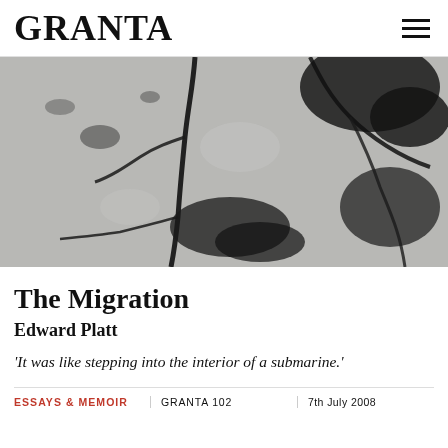GRANTA
[Figure (photo): Close-up photograph of cracked concrete or stone surface with dark black fractures and stains spreading across a grey textured background.]
The Migration
Edward Platt
‘It was like stepping into the interior of a submarine.’
ESSAYS & MEMOIR
GRANTA 102
7th July 2008